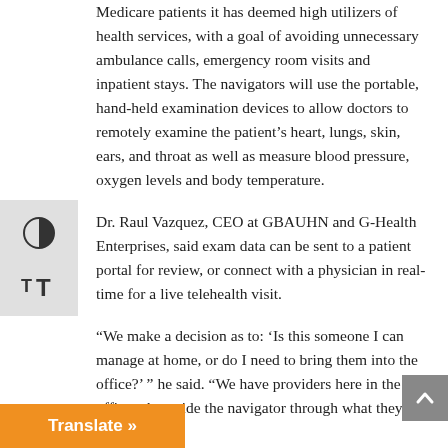Medicare patients it has deemed high utilizers of health services, with a goal of avoiding unnecessary ambulance calls, emergency room visits and inpatient stays. The navigators will use the portable, hand-held examination devices to allow doctors to remotely examine the patient's heart, lungs, skin, ears, and throat as well as measure blood pressure, oxygen levels and body temperature.
Dr. Raul Vazquez, CEO at GBAUHN and G-Health Enterprises, said exam data can be sent to a patient portal for review, or connect with a physician in real-time for a live telehealth visit.
“We make a decision as to: ‘Is this someone I can manage at home, or do I need to bring them into the office?’ ” he said. “We have providers here in the office who guide the navigator through what they need.”